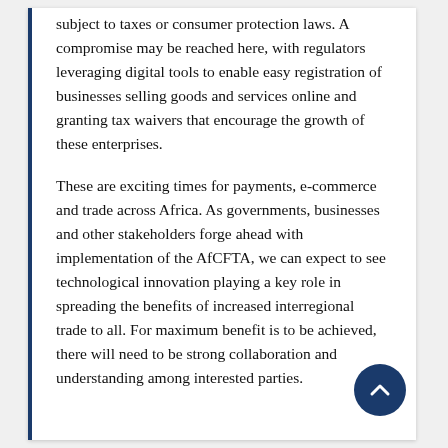subject to taxes or consumer protection laws. A compromise may be reached here, with regulators leveraging digital tools to enable easy registration of businesses selling goods and services online and granting tax waivers that encourage the growth of these enterprises.
These are exciting times for payments, e-commerce and trade across Africa. As governments, businesses and other stakeholders forge ahead with implementation of the AfCFTA, we can expect to see technological innovation playing a key role in spreading the benefits of increased interregional trade to all. For maximum benefit is to be achieved, there will need to be strong collaboration and understanding among interested parties.